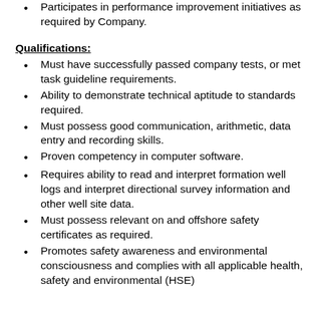Participates in performance improvement initiatives as required by Company.
Qualifications:
Must have successfully passed company tests, or met task guideline requirements.
Ability to demonstrate technical aptitude to standards required.
Must possess good communication, arithmetic, data entry and recording skills.
Proven competency in computer software.
Requires ability to read and interpret formation well logs and interpret directional survey information and other well site data.
Must possess relevant on and offshore safety certificates as required.
Promotes safety awareness and environmental consciousness and complies with all applicable health, safety and environmental (HSE)